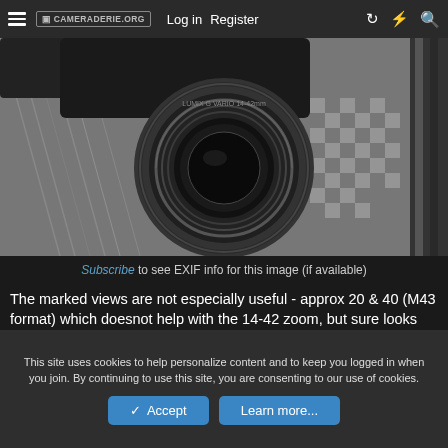CAMERADERIE.ORG  Log in  Register
[Figure (photo): Close-up black and white photo of a camera lens (14-42 zoom, M43 format) resting on a patterned fabric surface]
Subscribe to see EXIF info for this image (if available)
The marked views are not especially useful - approx 20 & 40 (M43 format) which doesnot help with the 14-42 zoom, but sure looks cool anyway!:tongue:
This site uses cookies to help personalize content and to keep you logged in when you join. By continuing to use this site, you are consenting to our use of cookies.